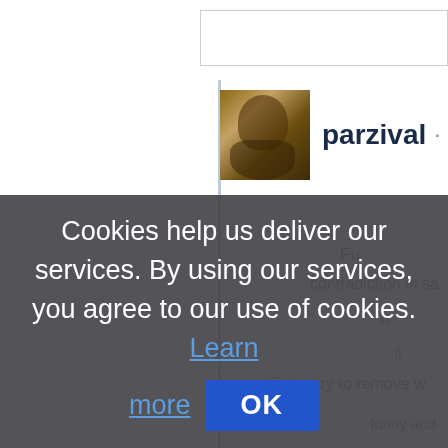[Figure (screenshot): Partial screenshot of a web comment page showing a user avatar, username 'parzival', timestamp '8 mo', and faint background comment text. A cookie consent overlay covers the lower portion with the message 'Cookies help us deliver our services. By using our services, you agree to our use of cookies. Learn more' and an OK button.]